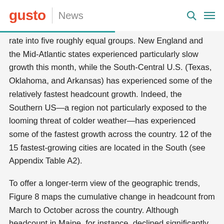gusto | News
rate into five roughly equal groups. New England and the Mid-Atlantic states experienced particularly slow growth this month, while the South-Central U.S. (Texas, Oklahoma, and Arkansas) has experienced some of the relatively fastest headcount growth. Indeed, the Southern US—a region not particularly exposed to the looming threat of colder weather—has experienced some of the fastest growth across the country. 12 of the 15 fastest-growing cities are located in the South (see Appendix Table A2).
To offer a longer-term view of the geographic trends, Figure 8 maps the cumulative change in headcount from March to October across the country. Although headcount in Maine, for instance, declined significantly in October, this state has seen one of the